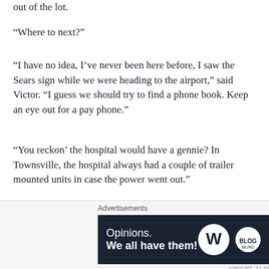out of the lot.
“Where to next?”
“I have no idea, I’ve never been here before, I saw the Sears sign while we were heading to the airport,” said Victor. “I guess we should try to find a phone book. Keep an eye out for a pay phone.”
“You reckon’ the hospital would have a gennie? In Townsville, the hospital always had a couple of trailer mounted units in case the power went out.”
“Usually here in US they’re built as part of the hospital, on huge concrete pads. We can take a look though,” said Victor.
Advertisements
[Figure (other): WordPress advertisement banner: 'Opinions. We all have them!' with WordPress logo and small secondary logo on dark navy background.]